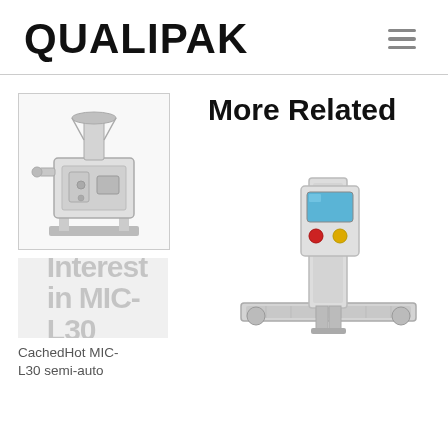QUALIPAK
More Related
[Figure (photo): Semi-automatic pharmaceutical capsule filling or processing machine, stainless steel, compact benchtop unit with funnel on top]
[Figure (photo): Large overlaid text reading 'Interest in MIC-L30' in bold gray letters over a light background]
CachedHot MIC-L30 semi-auto
[Figure (photo): Checkweigher machine with stainless steel column, touchscreen control panel with red and yellow buttons, and conveyor belt at base]